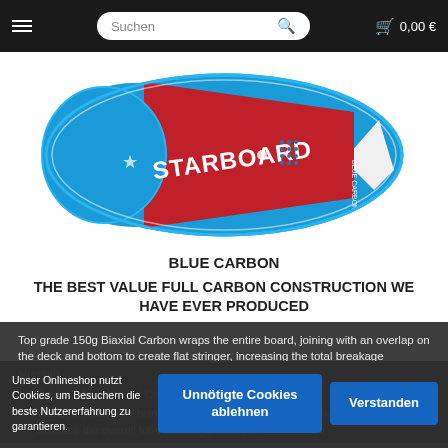≡   Suchen 🔍   🛒 0,00 €
[Figure (photo): Top-down view of a Starboard SUP/surfboard with blue body and red panel, labeled 'STARBOARD' and 'Blue Carbon']
BLUE CARBON
THE BEST VALUE FULL CARBON CONSTRUCTION WE HAVE EVER PRODUCED
Top grade 150g Biaxial Carbon wraps the entire board, joining with an overlap on the deck and bottom to create flat stringer, increasing the total breakage strength.
2 skins of d... biaxial Carb... a absorbino the impact.
The combination of twin T-stringers deck and bottom work together to increase the overall total breakage strength.
Unser Onlineshop nutzt Cookies, um Besuchern die beste Nutzererfahrung zu garantieren.
Unnötigte Cookies ablehnen
Verstanden